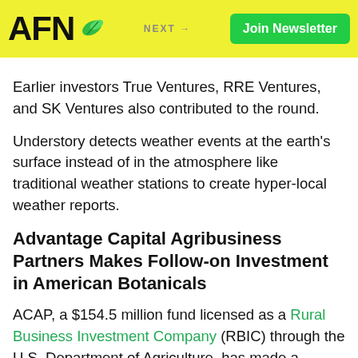AFN | Join Newsletter | NEXT →
Earlier investors True Ventures, RRE Ventures, and SK Ventures also contributed to the round.
Understory detects weather events at the earth's surface instead of in the atmosphere like traditional weather stations to create hyper-local weather reports.
Advantage Capital Agribusiness Partners Makes Follow-on Investment in American Botanicals
ACAP, a $154.5 million fund licensed as a Rural Business Investment Company (RBIC) through the U.S. Department of Agriculture, has made a follow-on investment with American Botanicals. The